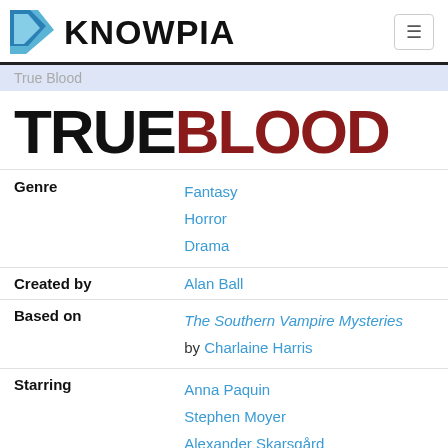KNOWPIA
True Blood
[Figure (logo): True Blood TV show logo with TRUE in black bold and BLOOD in dark red bold]
|  |  |
| --- | --- |
| Genre | Fantasy
Horror
Drama |
| Created by | Alan Ball |
| Based on | The Southern Vampire Mysteries by Charlaine Harris |
| Starring | Anna Paquin
Stephen Moyer
Alexander Skarsgård
Sam Trammell
Ryan Kwanten
Rutina Wesley |